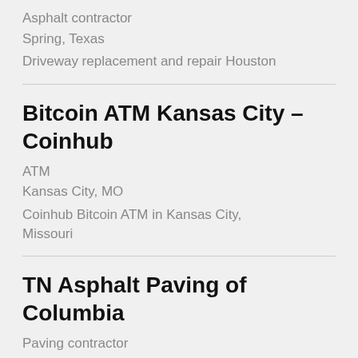Asphalt contractor
Spring, Texas
Driveway replacement and repair Houston
Bitcoin ATM Kansas City – Coinhub
ATM
Kansas City, MO
Coinhub Bitcoin ATM in Kansas City, Missouri
TN Asphalt Paving of Columbia
Paving contractor